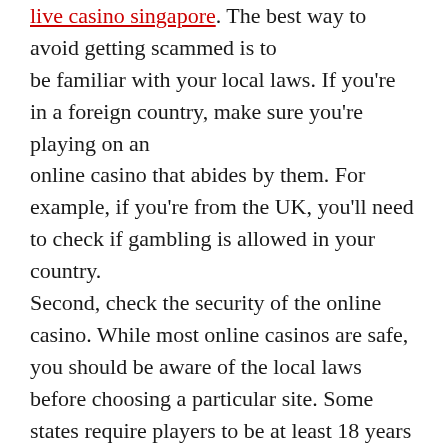live casino singapore. The best way to avoid getting scammed is to be familiar with your local laws. If you're in a foreign country, make sure you're playing on an online casino that abides by them. For example, if you're from the UK, you'll need to check if gambling is allowed in your country. Second, check the security of the online casino. While most online casinos are safe, you should be aware of the local laws before choosing a particular site. Some states require players to be at least 18 years old to play. The best way to make sure you're not breaking any laws is to play responsibly. You can avoid this by playing at a reputable website. If you're new to the world of